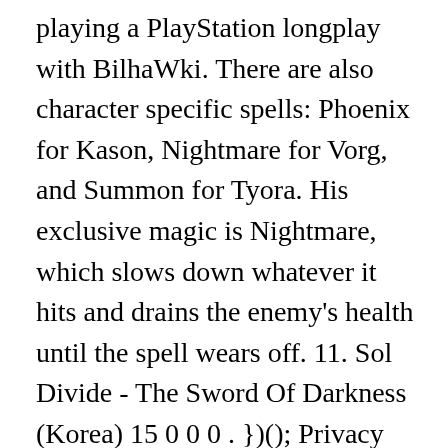playing a PlayStation longplay with BilhaWki. There are also character specific spells: Phoenix for Kason, Nightmare for Vorg, and Summon for Tyora. His exclusive magic is Nightmare, which slows down whatever it hits and drains the enemy's health until the spell wears off. 11. Sol Divide - The Sword Of Darkness (Korea) 15 0 0 0 . })(); Privacy Policy Terms of Use DMCA Sol Divide, the newest arcade game for Switch, is out on the eShop tomorrow. Sol Divide - Sword of Darkness (Vorg) 1997 Psikyo. elem.async = true; Certain spells like Fire, Thunder, Slow and Freeze will drain your magic bar, but this can be refilled by hitting with close range attacks. Portions provided under license from the Data